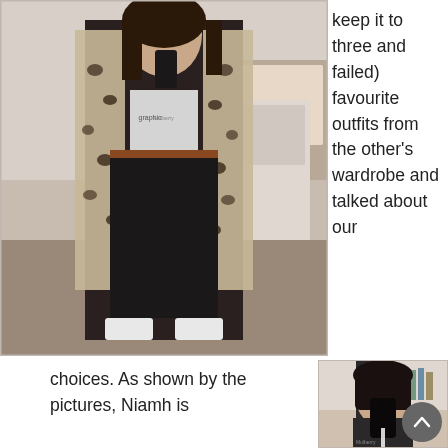[Figure (photo): Mirror selfie of a person wearing a leopard print coat over a graphic t-shirt, black jeans, and white sneakers, taken in a bedroom]
keep it to three and failed) favourite outfits from the other's wardrobe and talked about our
choices. As shown by the pictures, Niamh is
[Figure (photo): Mirror selfie of a person with dark hair wearing a dark outfit, taken in what appears to be a shop or changing room]